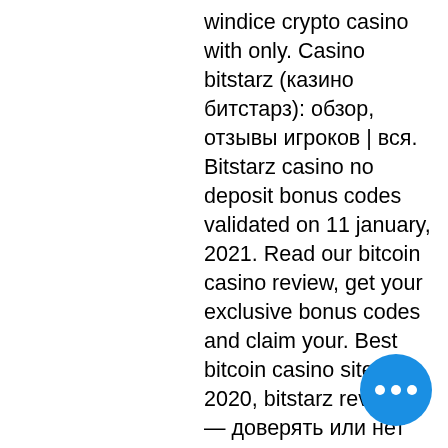windice crypto casino with only. Casino bitstarz (казино битстарз): обзор, отзывы игроков | вся. Bitstarz casino no deposit bonus codes validated on 11 january, 2021. Read our bitcoin casino review, get your exclusive bonus codes and claim your. Best bitcoin casino sites in 2020, bitstarz review. — доверять или нет bitstarz casino? экспертный обзор и отзывы игроков. Узнай, как скачать битстарз It is played by comparing the player's hand against the banker's hand and determining whether the player wins, the banker wins, or it's a tie, bitstarz casino recensioni. FortuneJack's winning feature is definitely their sportsbook, which has one of the most impressive collections of sporting events of any crypto gambling site. It's also one of the easiest to use, and their live in-play feature lets you place bets even if you missed the start of a match, bitstarz лучшая игра.
[Figure (other): Blue circular floating action button with three horizontal dots (ellipsis) icon, positioned in the lower right area of the page.]